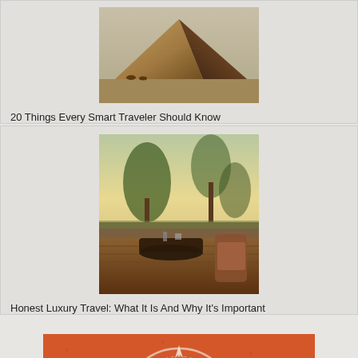[Figure (photo): Photo of Egyptian pyramid]
20 Things Every Smart Traveler Should Know
[Figure (photo): Photo of outdoor dining table with safari/nature view]
Honest Luxury Travel: What It Is And Why It's Important
[Figure (logo): Orange square logo with compass/WiFi RSS feed icon and circular design]